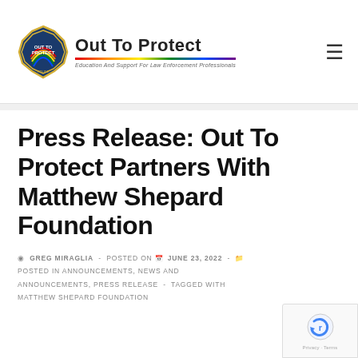Out To Protect — Education And Support For Law Enforcement Professionals
Press Release: Out To Protect Partners With Matthew Shepard Foundation
GREG MIRAGLIA - POSTED ON JUNE 23, 2022 - POSTED IN ANNOUNCEMENTS, NEWS AND ANNOUNCEMENTS, PRESS RELEASE - TAGGED WITH MATTHEW SHEPARD FOUNDATION